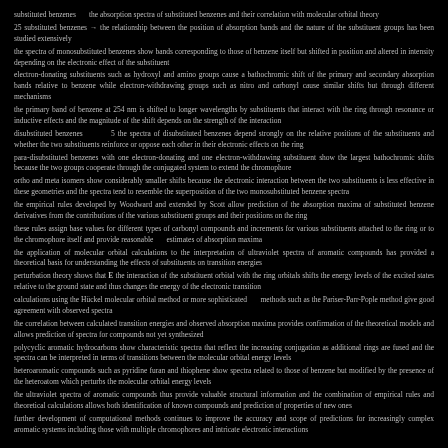substituted benzenes     the absorption spectra of substituted benzenes and their correlation with molecular orbital theory
25 substituted benzenes → the relationship between the position of absorption bands and the nature of the substituent groups has been studied extensively
the spectra of monosubstituted benzenes show bands corresponding to those of benzene itself but shifted in position and altered in intensity depending on the electronic effect of the substituent
electron-donating substituents such as hydroxyl and amino groups cause a bathochromic shift of the primary and secondary absorption bands relative to benzene while electron-withdrawing groups such as nitro and carbonyl cause similar shifts but through different mechanisms
the primary band of benzene at 254 nm is shifted to longer wavelengths by substituents that interact with the ring through resonance or inductive effects and the magnitude of the shift depends on the strength of the interaction
disubstituted benzenes         5 the spectra of disubstituted benzenes depend strongly on the relative positions of the substituents and whether the two substituents reinforce or oppose each other in their electronic effects on the ring
para-disubstituted benzenes with one electron-donating and one electron-withdrawing substituent show the largest bathochromic shifts because the two groups cooperate through the conjugated system to extend the chromophore
ortho and meta isomers show considerably smaller shifts because the electronic interaction between the two substituents is less effective in these geometries and the spectra tend to resemble the superposition of the two monosubstituted benzene spectra
the empirical rules developed by Woodward and extended by Scott allow prediction of the absorption maxima of substituted benzene derivatives from the contributions of the various substituent groups and their positions on the ring
these rules assign base values for different types of carbonyl compounds and increments for various substituents attached to the ring or to the chromophore itself and provide reasonable     estimates of absorption maxima
the application of molecular orbital calculations to the interpretation of ultraviolet spectra of aromatic compounds has provided a theoretical basis for understanding the effects of substituents on transition energies
perturbation theory shows that E the interaction of the substituent orbital with the ring orbitals shifts the energy levels of the excited states relative to the ground state and thus changes the energy of the electronic transition
calculations using the Hückel molecular orbital method or more sophisticated     methods such as the Pariser-Parr-Pople method give good agreement with observed spectra
the correlation between calculated transition energies and observed absorption maxima provides confirmation of the theoretical models and allows prediction of spectra for compounds not yet synthesized
polycyclic aromatic hydrocarbons show characteristic spectra that reflect the increasing conjugation as additional rings are fused and the spectra can be interpreted in terms of transitions between the molecular orbital energy levels
heteroaromatic compounds such as pyridine furan and thiophene show spectra related to those of benzene but modified by the presence of the heteroatom which perturbs the molecular orbital energy levels
the ultraviolet spectra of aromatic compounds thus provide valuable structural information and the combination of empirical rules and theoretical calculations allows both identification of known compounds and prediction of properties of new ones
further development of computational methods continues to improve the accuracy and scope of predictions for increasingly complex aromatic systems including those with multiple chromophores and intricate electronic interactions